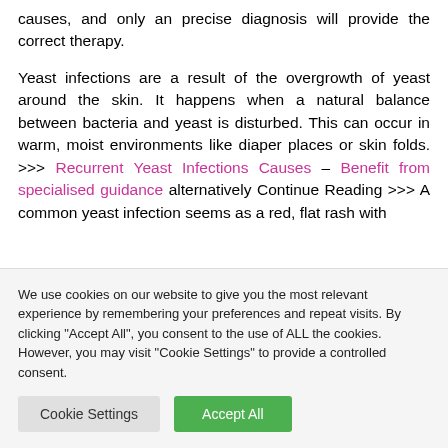causes, and only an precise diagnosis will provide the correct therapy.
Yeast infections are a result of the overgrowth of yeast around the skin. It happens when a natural balance between bacteria and yeast is disturbed. This can occur in warm, moist environments like diaper places or skin folds. >>> Recurrent Yeast Infections Causes – Benefit from specialised guidance alternatively Continue Reading >>> A common yeast infection seems as a red, flat rash with
We use cookies on our website to give you the most relevant experience by remembering your preferences and repeat visits. By clicking "Accept All", you consent to the use of ALL the cookies. However, you may visit "Cookie Settings" to provide a controlled consent.